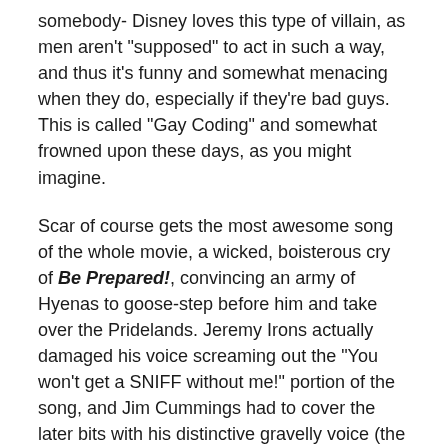somebody- Disney loves this type of villain, as men aren't "supposed" to act in such a way, and thus it's funny and somewhat menacing when they do, especially if they're bad guys. This is called "Gay Coding" and somewhat frowned upon these days, as you might imagine.
Scar of course gets the most awesome song of the whole movie, a wicked, boisterous cry of Be Prepared!, convincing an army of Hyenas to goose-step before him and take over the Pridelands. Jeremy Irons actually damaged his voice screaming out the "You won't get a SNIFF without me!" portion of the song, and Jim Cummings had to cover the later bits with his distinctive gravelly voice (the same one in In The Dark Of The Night from Anastasia, because Christopher Lloyd wouldn't sing), but this song is EPIC. Scar acts his snide best, intimidates everyone around him, and forges a huge, conquering army, all while some weird green volcano is exploding all around him, demolishing the scenery (while he's oddly not panicking).